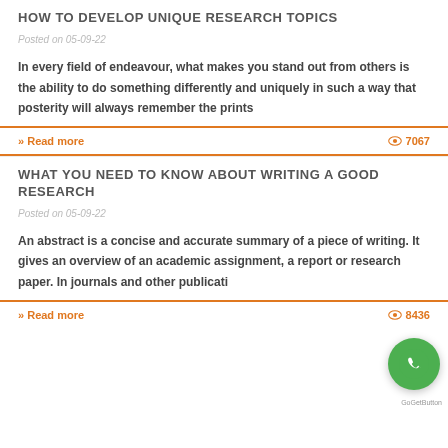HOW TO DEVELOP UNIQUE RESEARCH TOPICS
Posted on 05-09-22
In every field of endeavour, what makes you stand out from others is the ability to do something differently and uniquely in such a way that posterity will always remember the prints
» Read more
7067
WHAT YOU NEED TO KNOW ABOUT WRITING A GOOD RESEARCH
Posted on 05-09-22
An abstract is a concise and accurate summary of a piece of writing. It gives an overview of an academic assignment, a report or research paper. In journals and other publicati...
» Read more
8436